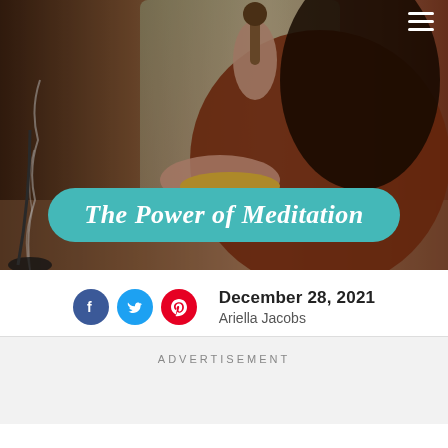[Figure (photo): A woman holding a Tibetan singing bowl in one hand and a mallet in the other, wearing bracelets and a rust-colored knit sweater. Incense smoke visible on the left. Background is blurred indoor scene.]
The Power of Meditation
December 28, 2021
Ariella Jacobs
ADVERTISEMENT